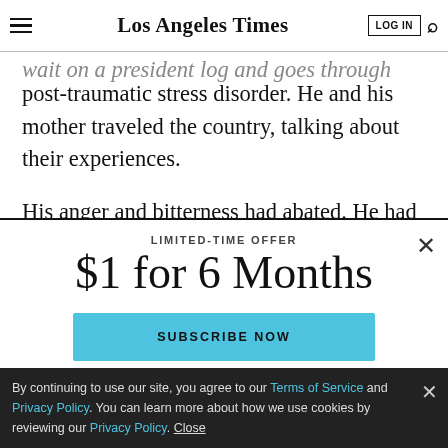Los Angeles Times
...wait on a president log and goes through therapy for post-traumatic stress disorder. He and his mother traveled the country, talking about their experiences.
His anger and bitterness had abated. He had a quick smile and a mental encyclopedia of dirty jokes. He had
LIMITED-TIME OFFER
$1 for 6 Months
SUBSCRIBE NOW
By continuing to use our site, you agree to our Terms of Service and Privacy Policy. You can learn more about how we use cookies by reviewing our Privacy Policy. Close